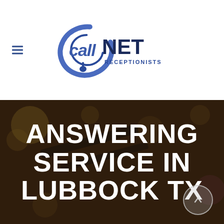[Figure (logo): CallNET Receptionists logo with circular swoosh and headset icon, blue and dark navy text]
ANSWERING SERVICE IN LUBBOCK TX